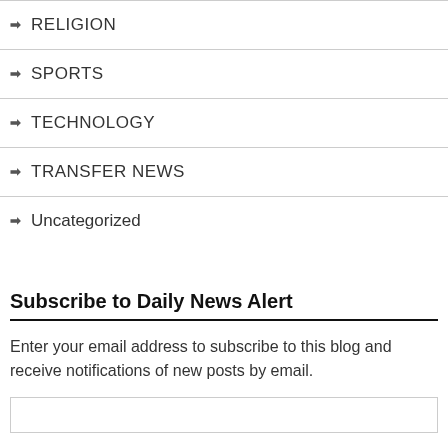RELIGION
SPORTS
TECHNOLOGY
TRANSFER NEWS
Uncategorized
Subscribe to Daily News Alert
Enter your email address to subscribe to this blog and receive notifications of new posts by email.